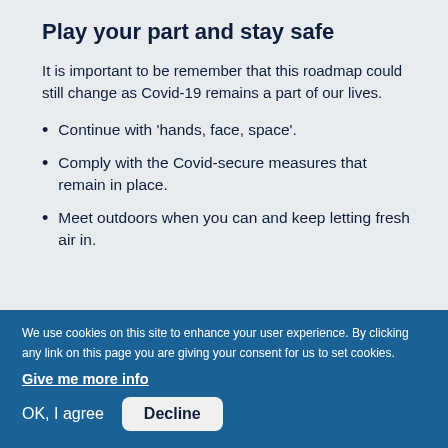Play your part and stay safe
It is important to be remember that this roadmap could still change as Covid-19 remains a part of our lives.
Continue with 'hands, face, space'.
Comply with the Covid-secure measures that remain in place.
Meet outdoors when you can and keep letting fresh air in.
We use cookies on this site to enhance your user experience. By clicking any link on this page you are giving your consent for us to set cookies.
Give me more info
OK, I agree  Decline